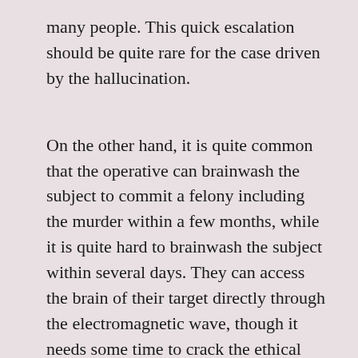many people. This quick escalation should be quite rare for the case driven by the hallucination.
On the other hand, it is quite common that the operative can brainwash the subject to commit a felony including the murder within a few months, while it is quite hard to brainwash the subject within several days. They can access the brain of their target directly through the electromagnetic wave, though it needs some time to crack the ethical code for a further action. Even if we hear the voice inside the brain, we do not believe its command soon as it